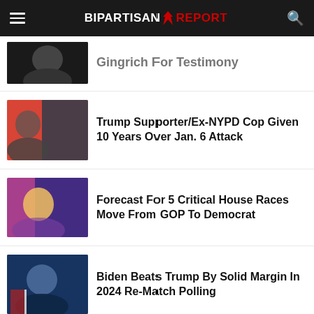BIPARTISAN REPORT
Gingrich For Testimony
Trump Supporter/Ex-NYPD Cop Given 10 Years Over Jan. 6 Attack
Forecast For 5 Critical House Races Move From GOP To Democrat
Biden Beats Trump By Solid Margin In 2024 Re-Match Polling
Biden Approval Rating Jumps By Nine Percent As Blue Wave Intensifies